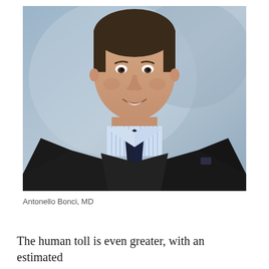[Figure (photo): Professional headshot of Antonello Bonci, MD. A man in a dark blazer over a dark sweater, wearing a light blue striped dress shirt and dark tie. He is smiling, with short brown hair, photographed against a muted blue-grey background.]
Antonello Bonci, MD
The human toll is even greater, with an estimated